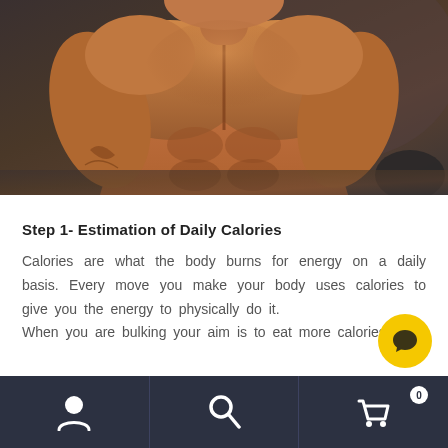[Figure (photo): Muscular shirtless male bodybuilder photographed from the torso up against a dark grey background, showing defined musculature and tattoos on arm]
Step 1- Estimation of Daily Calories
Calories are what the body burns for energy on a daily basis. Every move you make your body uses calories to give you the energy to physically do it.
When you are bulking your aim is to eat more calories on a
Navigation bar with user icon, search icon, and shopping cart icon with badge 0